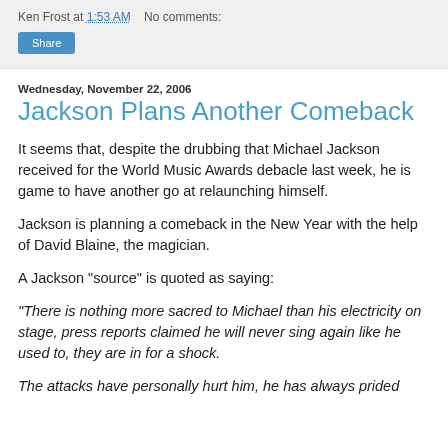Ken Frost at 1:53 AM   No comments:
Wednesday, November 22, 2006
Jackson Plans Another Comeback
It seems that, despite the drubbing that Michael Jackson received for the World Music Awards debacle last week, he is game to have another go at relaunching himself.
Jackson is planning a comeback in the New Year with the help of David Blaine, the magician.
A Jackson "source" is quoted as saying:
"There is nothing more sacred to Michael than his electricity on stage, press reports claimed he will never sing again like he used to, they are in for a shock.
The attacks have personally hurt him, he has always prided